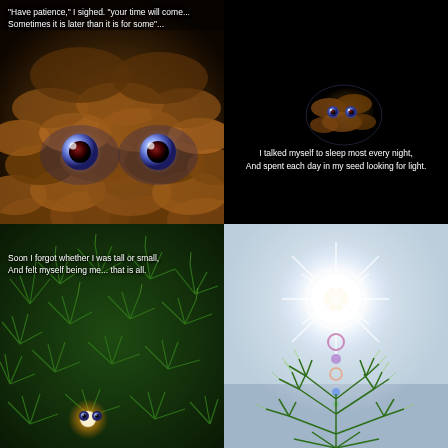[Figure (photo): Close-up macro photo of a pine cone with two glowing blue eyes visible among the brown scales, dark background]
"Have patience," I sighed. "your time will come...
Sometimes it is later than it is for some"...
[Figure (photo): Smaller distant view of a pine cone creature with tiny glowing blue eyes in darkness]
I talked myself to sleep most every night,
And spent each day in my seed looking for light.
[Figure (photo): Green fir/spruce tree branches with small glowing eyes hidden among the needles]
Soon I forgot whether I was tall or small,
And felt myself being me... that is all.
[Figure (photo): Bright sun flare with lens flares shining through green tree branches at top of tree against pale sky]